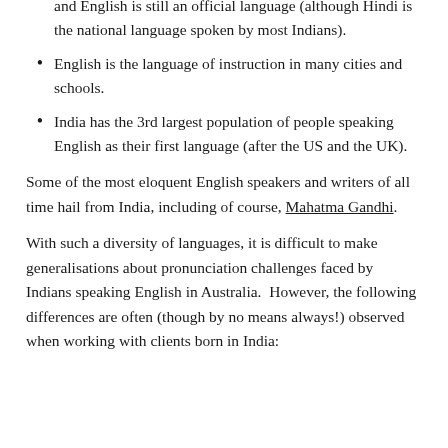and English is still an official language (although Hindi is the national language spoken by most Indians).
English is the language of instruction in many cities and schools.
India has the 3rd largest population of people speaking English as their first language (after the US and the UK).
Some of the most eloquent English speakers and writers of all time hail from India, including of course, Mahatma Gandhi.
With such a diversity of languages, it is difficult to make generalisations about pronunciation challenges faced by Indians speaking English in Australia.  However, the following differences are often (though by no means always!) observed when working with clients born in India: